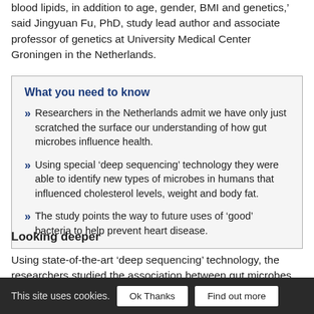blood lipids, in addition to age, gender, BMI and genetics,' said Jingyuan Fu, PhD, study lead author and associate professor of genetics at University Medical Center Groningen in the Netherlands.
What you need to know
Researchers in the Netherlands admit we have only just scratched the surface our understanding of how gut microbes influence health.
Using special 'deep sequencing' technology they were able to identify new types of microbes in humans that influenced cholesterol levels, weight and body fat.
The study points the way to future uses of 'good' bacteria to help prevent heart disease.
Looking deeper
Using state-of-the-art 'deep sequencing' technology, the researchers studied the association between gut microbes and
This site uses cookies.   Ok Thanks   Find out more